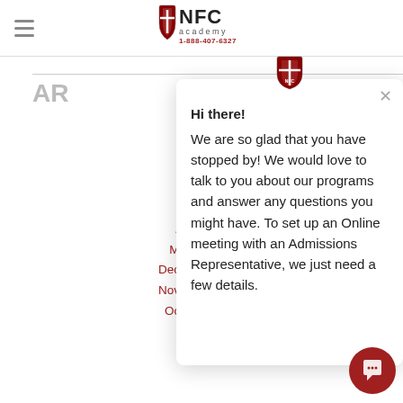NFC Academy 1-888-407-6327
AR
Ja
Dec
Nov
Oc
Sep
Au
July 2021
March 2021
December 2020
November 2020
October 2020
[Figure (screenshot): Chat popup with NFC Academy logo at top, close X button, greeting text: Hi there! We are so glad that you have stopped by! We would love to talk to you about our programs and answer any questions you might have. To set up an Online meeting with an Admissions Representative, we just need a few details.]